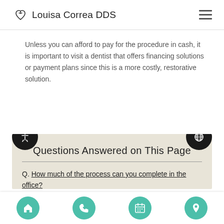Louisa Correa DDS
Unless you can afford to pay for the procedure in cash, it is important to visit a dentist that offers financing solutions or payment plans since this is a more costly, restorative solution.
Questions Answered on This Page
Q. How much of the process can you complete in the office?